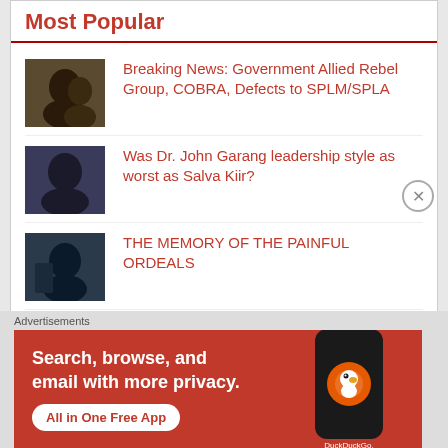Most Popular
Breaking News: Government Allied Rebel Group, COBRA, Defects to SPLM/SPLA
Was Dr. John Garang leadership style as worst as Salva Kiir?
THE MEMORY OF THE PAINFUL ORDEALS
The Tribal thinking differences Between Dinka and Nuer.
Advertisements
[Figure (infographic): DuckDuckGo advertisement banner: Search, browse, and email with more privacy. All in One Free App. Shows a phone with DuckDuckGo logo.]